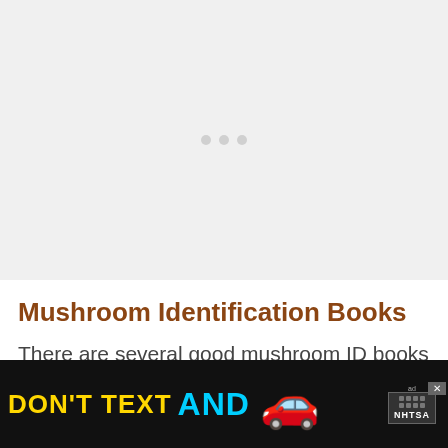[Figure (other): Light gray placeholder area with three faint dots in the center, representing an unloaded image or advertisement area.]
Mushroom Identification Books
There are several good mushroom ID books out there that you can rely on to have the accurate information about on.
[Figure (other): Advertisement banner with dark background. Text reads DON'T TEXT AND with a red car emoji graphic. NHTSA branding badge with ad label and close button.]